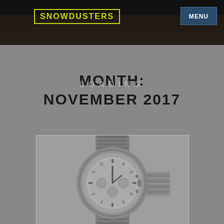SNOWDUSTERS
MENU
MONTH: NOVEMBER 2017
[Figure (photo): Photograph of a metallic chronograph wristwatch with a round face, shown at an angle against a grey background]